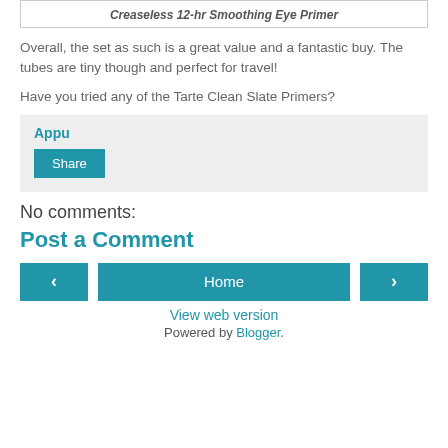Creaseless 12-hr Smoothing Eye Primer
Overall, the set as such is a great value and a fantastic buy. The tubes are tiny though and perfect for travel!
Have you tried any of the Tarte Clean Slate Primers?
Appu
Share
No comments:
Post a Comment
< Home >
View web version
Powered by Blogger.